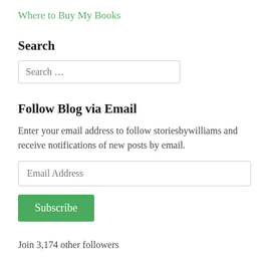Where to Buy My Books
Search
Search …
Follow Blog via Email
Enter your email address to follow storiesbywilliams and receive notifications of new posts by email.
Email Address
Subscribe
Join 3,174 other followers